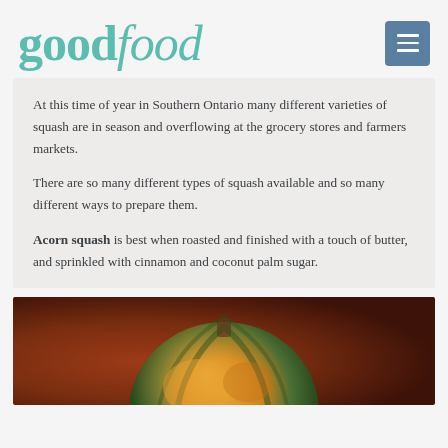[Figure (logo): goodfood logo in teal/green italic serif font]
At this time of year in Southern Ontario many different varieties of squash are in season and overflowing at the grocery stores and farmers markets.
There are so many different types of squash available and so many different ways to prepare them.
Acorn squash is best when roasted and finished with a touch of butter, and sprinkled with cinnamon and coconut palm sugar.
[Figure (photo): Close-up photo of an acorn squash with orange and green striped skin on a dark reddish-brown background]